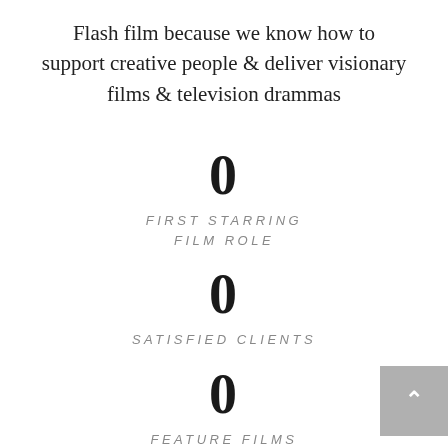Flash film because we know how to support creative people & deliver visionary films & television drammas
0
FIRST STARRING FILM ROLE
0
SATISFIED CLIENTS
0
FEATURE FILMS
0